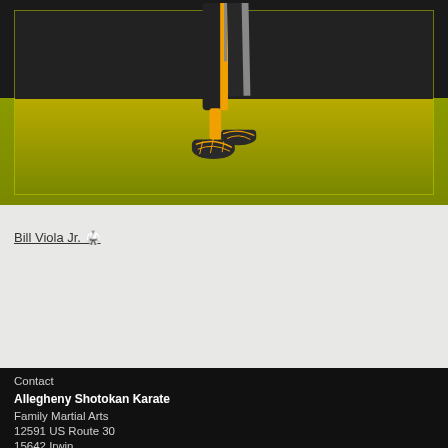[Figure (illustration): Karate martial artist lower body/legs in black and yellow uniform with martial arts footwear, standing on a yellow-green gradient background with dark top section, enclosed in a light border frame]
Bill Viola Jr. 🥋
Contact
Allegheny Shotokan Karate
Family Martial Arts
12591 US Route 30
15642 Irwin